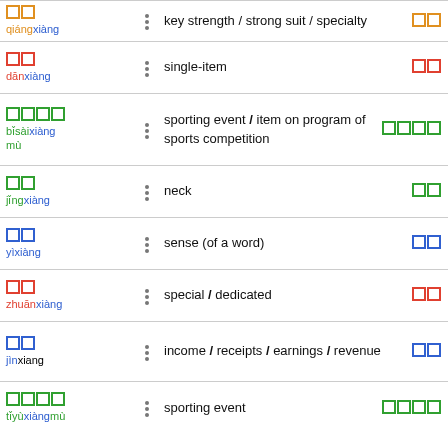qiángxiàng — key strength / strong suit / specialty
dānxiàng — single-item
bǐsàixiàng mù — sporting event / item on program of sports competition
jǐngxiàng — neck
yìxiàng — sense (of a word)
zhuānxiàng — special / dedicated
jìnxiang — income / receipts / earnings / revenue
tǐyùxiàngmù — sporting event